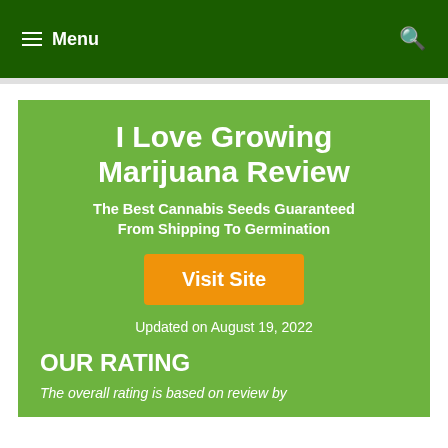Menu
I Love Growing Marijuana Review
The Best Cannabis Seeds Guaranteed From Shipping To Germination
Visit Site
Updated on August 19, 2022
OUR RATING
The overall rating is based on review by